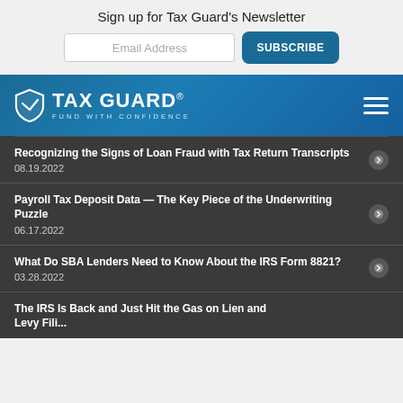Sign up for Tax Guard's Newsletter
Email Address
SUBSCRIBE
[Figure (logo): Tax Guard shield logo with text TAX GUARD and tagline FUND WITH CONFIDENCE on a blue gradient background, with a hamburger menu icon on the right]
Recognizing the Signs of Loan Fraud with Tax Return Transcripts
08.19.2022
Payroll Tax Deposit Data — The Key Piece of the Underwriting Puzzle
06.17.2022
What Do SBA Lenders Need to Know About the IRS Form 8821?
03.28.2022
The IRS Is Back and Just Hit the Gas on Lien and Levy Filing...